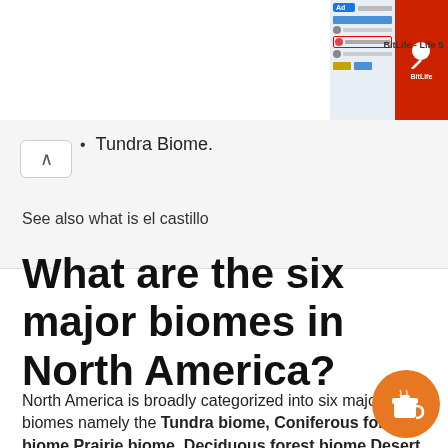[Figure (screenshot): Advertisement banner for BitLife - Life S game, showing a game interface on the left and a red background with a sperm icon and BitLife logo on the right. Labeled 'Ad'. Text reads 'I'm ready for my close-up' and 'BitLife - Life S'.]
Tundra Biome.
See also what is el castillo
What are the six major biomes in North America?
North America is broadly categorized into six major biomes namely the Tundra biome, Coniferous forest biome Prairie biome, Deciduous forest biome Desert biome
[Figure (illustration): Orange circular button with a coffee cup icon (Buy Me a Coffee widget).]